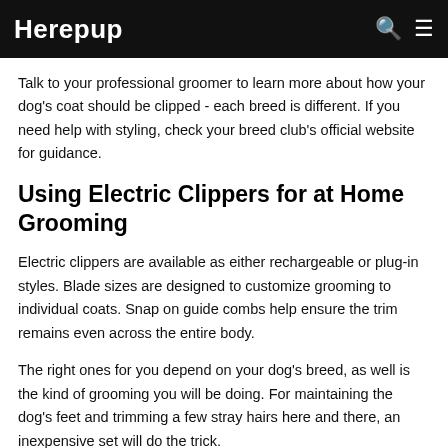Herepup
Talk to your professional groomer to learn more about how your dog's coat should be clipped - each breed is different. If you need help with styling, check your breed club's official website for guidance.
Using Electric Clippers for at Home Grooming
Electric clippers are available as either rechargeable or plug-in styles. Blade sizes are designed to customize grooming to individual coats. Snap on guide combs help ensure the trim remains even across the entire body.
The right ones for you depend on your dog's breed, as well is the kind of grooming you will be doing. For maintaining the dog's feet and trimming a few stray hairs here and there, an inexpensive set will do the trick.